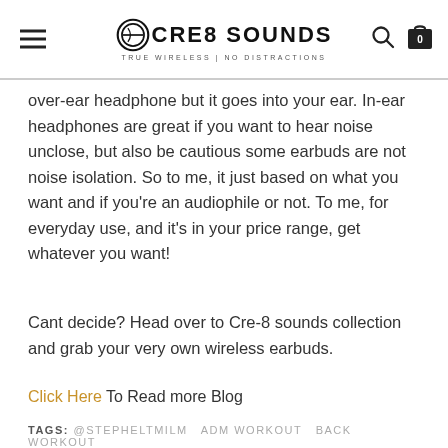CRE8 SOUNDS — TRUE WIRELESS | NO DISTRACTIONS
over-ear headphone but it goes into your ear. In-ear headphones are great if you want to hear noise unclose, but also be cautious some earbuds are not noise isolation. So to me, it just based on what you want and if you're an audiophile or not. To me, for everyday use, and it's in your price range, get whatever you want!
Cant decide? Head over to Cre-8 sounds collection and grab your very own wireless earbuds.
Click Here To Read more Blog
TAGS: @STEPHELTMILM ADM WORKOUT BACK WORKOUT